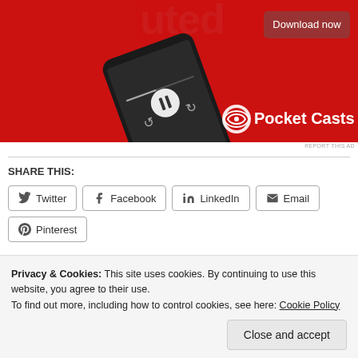[Figure (screenshot): Pocket Casts app advertisement showing a smartphone on a red background with a 'Download now' button and Pocket Casts logo]
REPORT THIS AD
SHARE THIS:
Twitter
Facebook
LinkedIn
Email
Pinterest
Loading...
Privacy & Cookies: This site uses cookies. By continuing to use this website, you agree to their use.
To find out more, including how to control cookies, see here: Cookie Policy